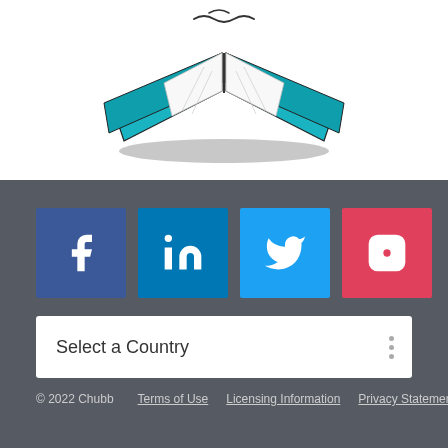[Figure (logo): Open book logo with teal/turquoise colored pages and black ink lines, partially cropped at top of page]
[Figure (infographic): Four social media icon buttons: Facebook (dark blue), LinkedIn (medium blue), Twitter (light blue), Instagram (red/pink)]
Select a Country
© 2022 Chubb    Terms of Use  Licensing Information  Privacy Statement